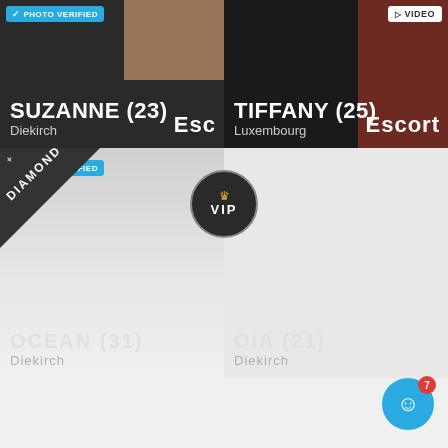[Figure (photo): Profile card for SUZANNE (23), Diekirch, with PHOTO VERIFIED badge and Escort label]
[Figure (photo): Profile card for TIFFANY (25), Luxembourg, with VIDEO badge and Escort label]
[Figure (other): Diamond ribbon badge overlay on second row left card]
[Figure (other): VIP circular badge with crown]
[Figure (photo): Profile card for OCEAN (31), Diekirch, with PHOTO VERIFIED badge]
[Figure (photo): Profile card for OIA (21), Diekirch]